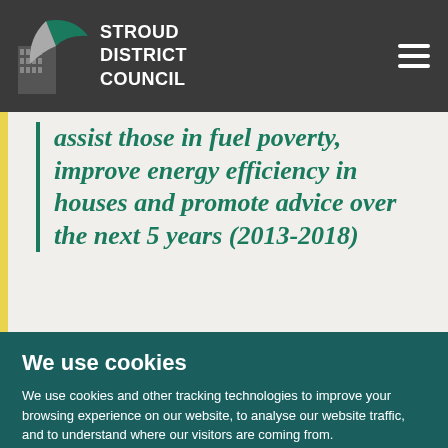Stroud District Council
assist those in fuel poverty, improve energy efficiency in houses and promote advice over the next 5 years (2013-2018)
We use cookies
We use cookies and other tracking technologies to improve your browsing experience on our website, to analyse our website traffic, and to understand where our visitors are coming from.
I agree